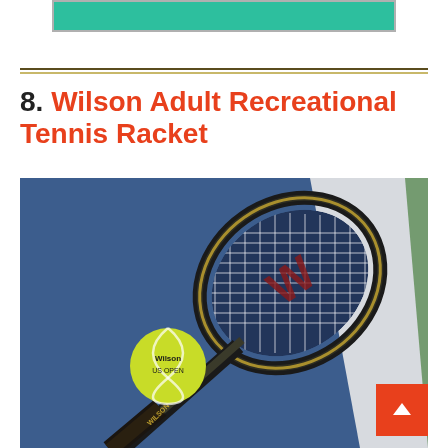[Figure (other): Teal/green rectangular banner at the top of the page]
8. Wilson Adult Recreational Tennis Racket
[Figure (photo): Photo of a Wilson tennis racket and a Wilson US Open tennis ball lying on a blue tennis court, with a white court line visible in the background and a green border area.]